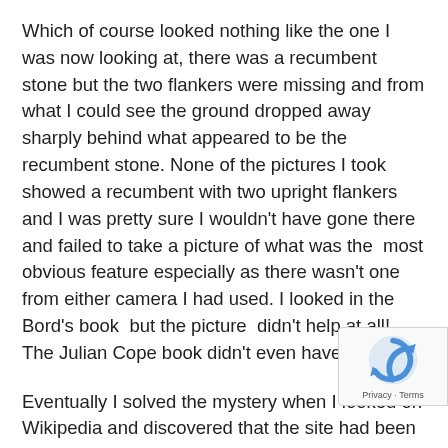Which of course looked nothing like the one I was now looking at, there was a recumbent stone but the two flankers were missing and from what I could see the ground dropped away sharply behind what appeared to be the recumbent stone. None of the pictures I took showed a recumbent with two upright flankers and I was pretty sure I wouldn't have gone there and failed to take a picture of what was the most obvious feature especially as there wasn't one from either camera I had used. I looked in the Bord's book but the picture didn't help at all! The Julian Cope book didn't even have a picture!
Eventually I solved the mystery when I looked on Wikipedia and discovered that the site had been excavated ten years after I'd visited and as part of the excavation they had restored the flankers either side of the recumbent stone in the photo I'd taken. The site
[Figure (logo): Google reCAPTCHA badge with revolving arrows logo and Privacy · Terms text]